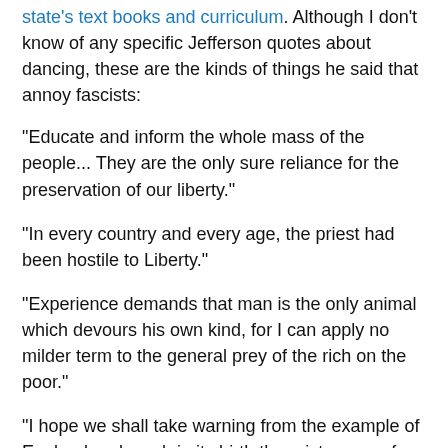state's text books and curriculum. Although I don't know of any specific Jefferson quotes about dancing, these are the kinds of things he said that annoy fascists:
"Educate and inform the whole mass of the people... They are the only sure reliance for the preservation of our liberty."
"In every country and every age, the priest had been hostile to Liberty."
"Experience demands that man is the only animal which devours his own kind, for I can apply no milder term to the general prey of the rich on the poor."
"I hope we shall take warning from the example of England and crush in its birth the aristocracy of our moneyed corporations which dare already to challenge our Government to trial, and bid defiance to the laws of our country."
"I would rather be exposed to the inconveniences attending too much liberty than to those attending too small a degree